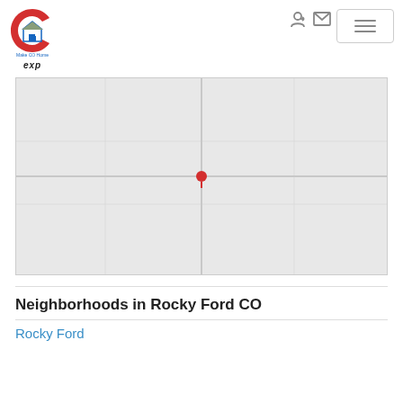[Figure (logo): Make CO Home logo with Colorado flag C symbol and house, with eXp realty text below]
[Figure (map): Interactive map area showing Rocky Ford CO area, light gray background]
Neighborhoods in Rocky Ford CO
Rocky Ford